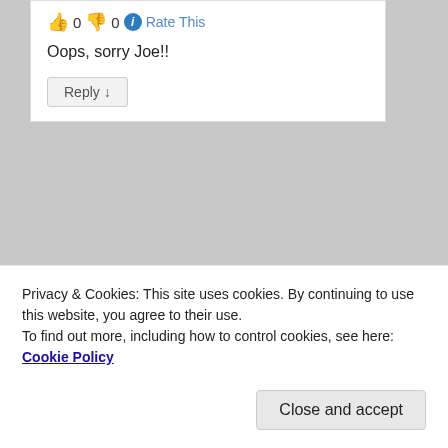👍 0 👎 0 ℹ Rate This
Oops, sorry Joe!!
Reply ↓
Advertisements
[Figure (screenshot): DuckDuckGo advertisement banner: orange section with text 'Search, browse, and email' and black section with DuckDuckGo logo]
[Figure (illustration): User avatar: cartoon alien/creature with green triangular face, sunglasses, on purple background]
Privacy & Cookies: This site uses cookies. By continuing to use this website, you agree to their use.
To find out more, including how to control cookies, see here: Cookie Policy
Close and accept